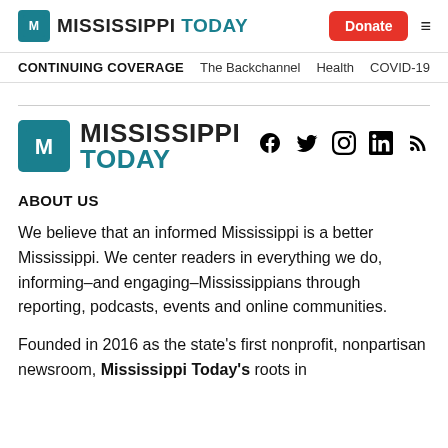Mississippi Today — Donate — Navigation menu
CONTINUING COVERAGE  The Backchannel  Health  COVID-19
[Figure (logo): Mississippi Today logo with teal M icon and social media icons (Facebook, Twitter, Instagram, LinkedIn, RSS)]
ABOUT US
We believe that an informed Mississippi is a better Mississippi. We center readers in everything we do, informing–and engaging–Mississippians through reporting, podcasts, events and online communities.
Founded in 2016 as the state's first nonprofit, nonpartisan newsroom, Mississippi Today's roots in